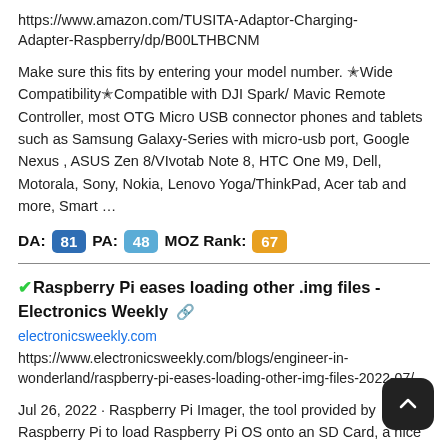https://www.amazon.com/TUSITA-Adaptor-Charging-Adapter-Raspberry/dp/B00LTHBCNM
Make sure this fits by entering your model number. ★Wide Compatibility★Compatible with DJI Spark/ Mavic Remote Controller, most OTG Micro USB connector phones and tablets such as Samsung Galaxy-Series with micro-usb port, Google Nexus , ASUS Zen 8/VIvotab Note 8, HTC One M9, Dell, Motorala, Sony, Nokia, Lenovo Yoga/ThinkPad, Acer tab and more, Smart ...
DA: 81 PA: 48 MOZ Rank: 67
✔︎Raspberry Pi eases loading other .img files - Electronics Weekly 🔗
electronicsweekly.com
https://www.electronicsweekly.com/blogs/engineer-in-wonderland/raspberry-pi-eases-loading-other-img-files-2022-07/
Jul 26, 2022 · Raspberry Pi Imager, the tool provided by Raspberry Pi to load Raspberry Pi OS onto an SD Card, a nice extra facility that I had not noticed before. Imager automates the loading of the standard 32bit Bulleye-based Raspberry Pi operating system, it will also load 64bit